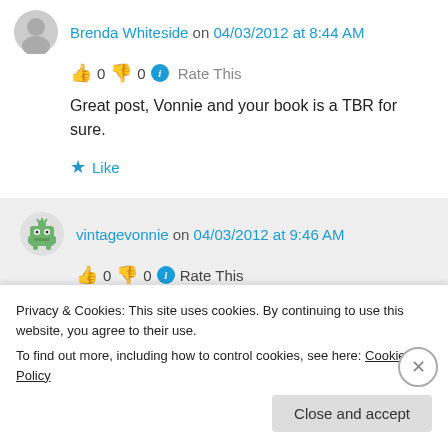Brenda Whiteside on 04/03/2012 at 8:44 AM
👍 0 👎 0 ℹ Rate This
Great post, Vonnie and your book is a TBR for sure.
★ Like
vintagevonnie on 04/03/2012 at 9:46 AM
👍 0 👎 0 ℹ Rate This
Privacy & Cookies: This site uses cookies. By continuing to use this website, you agree to their use.
To find out more, including how to control cookies, see here: Cookie Policy
Close and accept